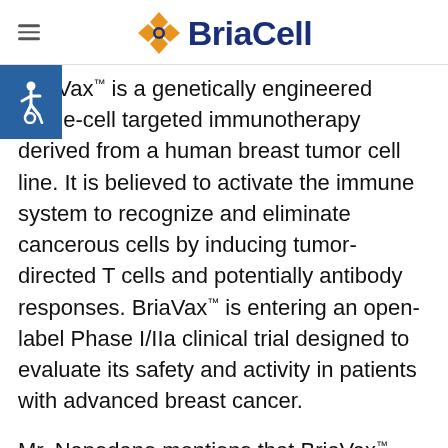BriaCell
BriaVax™ is a genetically engineered whole-cell targeted immunotherapy derived from a human breast tumor cell line. It is believed to activate the immune system to recognize and eliminate cancerous cells by inducing tumor-directed T cells and potentially antibody responses. BriaVax™ is entering an open-label Phase I/IIa clinical trial designed to evaluate its safety and activity in patients with advanced breast cancer.
Mr. Napodano mentions that BriaVax™ seems to induce an immune response